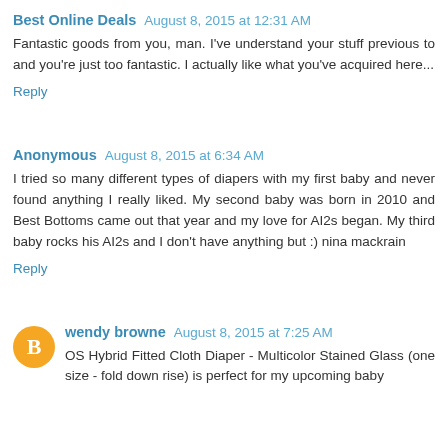Best Online Deals  August 8, 2015 at 12:31 AM
Fantastic goods from you, man. I've understand your stuff previous to and you're just too fantastic. I actually like what you've acquired here...
Reply
Anonymous  August 8, 2015 at 6:34 AM
I tried so many different types of diapers with my first baby and never found anything I really liked. My second baby was born in 2010 and Best Bottoms came out that year and my love for AI2s began. My third baby rocks his AI2s and I don't have anything but :) nina mackrain
Reply
wendy browne  August 8, 2015 at 7:25 AM
OS Hybrid Fitted Cloth Diaper - Multicolor Stained Glass (one size - fold down rise) is perfect for my upcoming baby